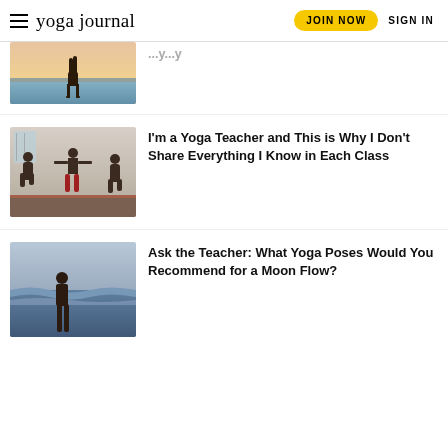yoga journal — JOIN NOW  SIGN IN
[Figure (photo): Person doing a handstand on a beach at sunset near the ocean]
[Figure (photo): Yoga class in session with instructor and students in warrior pose in a studio]
I'm a Yoga Teacher and This is Why I Don't Share Everything I Know in Each Class
[Figure (photo): Woman in prayer pose standing outdoors near ocean waves]
Ask the Teacher: What Yoga Poses Would You Recommend for a Moon Flow?